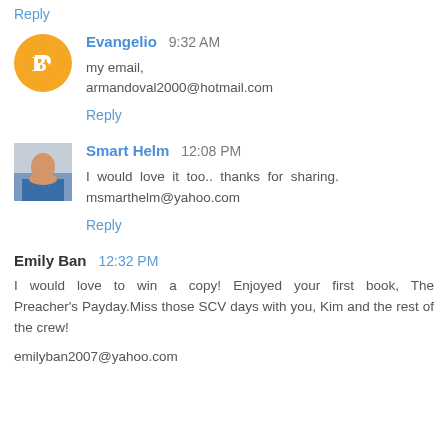Reply
Evangelio  9:32 AM
my email,
armandoval2000@hotmail.com
Reply
Smart Helm  12:08 PM
I would love it too.. thanks for sharing. msmarthelm@yahoo.com
Reply
Emily Ban  12:32 PM
I would love to win a copy! Enjoyed your first book, The Preacher's Payday.Miss those SCV days with you, Kim and the rest of the crew!
emilyban2007@yahoo.com